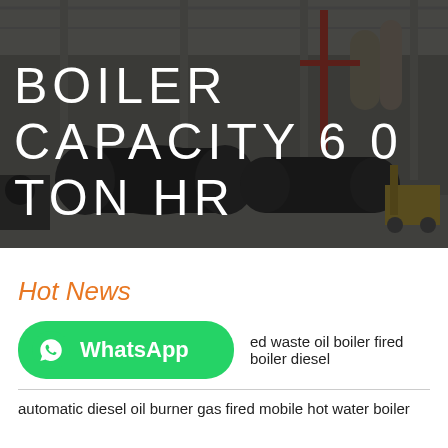[Figure (photo): Industrial boiler factory floor with large black cylindrical boilers, overhead cranes, red piping, and yellow equipment. Dark overlay applied. Large white text overlay reads BOILER CAPACITY 6 0 TON HR.]
BOILER CAPACITY 6 0 TON HR
Hot News
[Figure (logo): WhatsApp green button with phone icon and WhatsApp label]
ed waste oil boiler fired boiler diesel
automatic diesel oil burner gas fired mobile hot water boiler